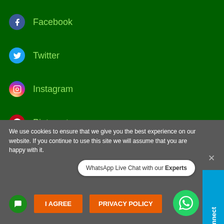Facebook
Twitter
Instagram
Pinterest
Subscribe Our Newsletter
Email address*
Your email address
We use cookies to ensure that we give you the best experience on our website. If you continue to use this site we will assume that you are happy with it.
I AGREE
PRIVACY POLICY
WhatsApp Live Chat with our Experts
Let's Connect